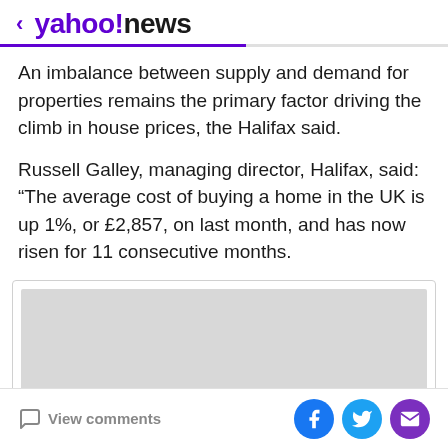< yahoo!news
An imbalance between supply and demand for properties remains the primary factor driving the climb in house prices, the Halifax said.
Russell Galley, managing director, Halifax, said: “The average cost of buying a home in the UK is up 1%, or £2,857, on last month, and has now risen for 11 consecutive months.
[Figure (other): Advertisement placeholder box with grey background]
View comments